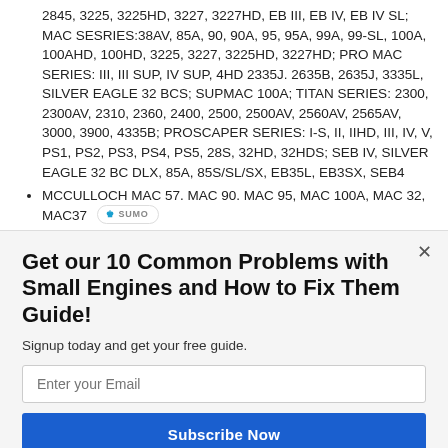2845, 3225, 3225HD, 3227, 3227HD, EB III, EB IV, EB IV SL; MAC SESRIES:38AV, 85A, 90, 90A, 95, 95A, 99A, 99-SL, 100A, 100AHD, 100HD, 3225, 3227, 3225HD, 3227HD; PRO MAC SERIES: III, III SUP, IV SUP, 4HD 2335J. 2635B, 2635J, 3335L, SILVER EAGLE 32 BCS; SUPMAC 100A; TITAN SERIES: 2300, 2300AV, 2310, 2360, 2400, 2500, 2500AV, 2560AV, 2565AV, 3000, 3900, 4335B; PROSCAPER SERIES: I-S, II, IIHD, III, IV, V, PS1, PS2, PS3, PS4, PS5, 28S, 32HD, 32HDS; SEB IV, SILVER EAGLE 32 BC DLX, 85A, 85S/SL/SX, EB35L, EB3SX, SEB4
MCCULLOCH MAC 57. MAC 90. MAC 95, MAC 100A, MAC 32, MAC37
Get our 10 Common Problems with Small Engines and How to Fix Them Guide!
Signup today and get your free guide.